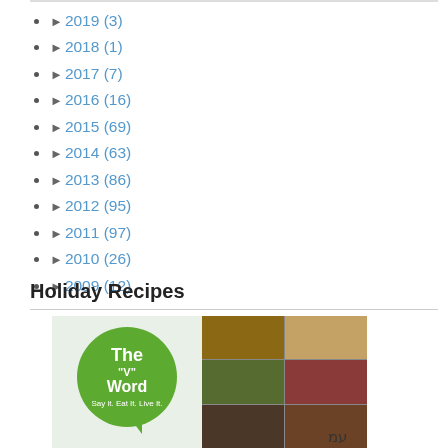► 2019 (3)
► 2018 (1)
► 2017 (7)
► 2016 (16)
► 2015 (69)
► 2014 (63)
► 2013 (86)
► 2012 (95)
► 2011 (97)
► 2010 (26)
► 2009 (12)
Holiday Recipes
[Figure (photo): Book cover collage for 'The V Word' cookbook showing food photos and Hebrew text]